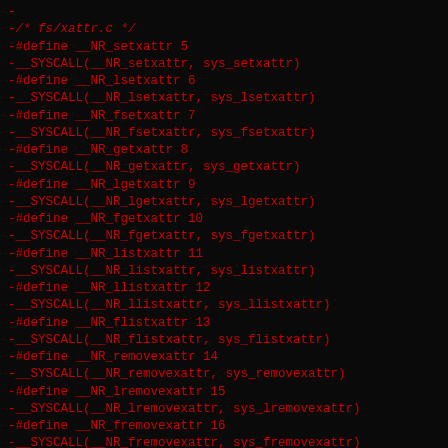-
-/* fs/xattr.c */
-#define __NR_setxattr 5
-__SYSCALL(__NR_setxattr, sys_setxattr)
-#define __NR_lsetxattr 6
-__SYSCALL(__NR_lsetxattr, sys_lsetxattr)
-#define __NR_fsetxattr 7
-__SYSCALL(__NR_fsetxattr, sys_fsetxattr)
-#define __NR_getxattr 8
-__SYSCALL(__NR_getxattr, sys_getxattr)
-#define __NR_lgetxattr 9
-__SYSCALL(__NR_lgetxattr, sys_lgetxattr)
-#define __NR_fgetxattr 10
-__SYSCALL(__NR_fgetxattr, sys_fgetxattr)
-#define __NR_listxattr 11
-__SYSCALL(__NR_listxattr, sys_listxattr)
-#define __NR_llistxattr 12
-__SYSCALL(__NR_llistxattr, sys_llistxattr)
-#define __NR_flistxattr 13
-__SYSCALL(__NR_flistxattr, sys_flistxattr)
-#define __NR_removexattr 14
-__SYSCALL(__NR_removexattr, sys_removexattr)
-#define __NR_lremovexattr 15
-__SYSCALL(__NR_lremovexattr, sys_lremovexattr)
-#define __NR_fremovexattr 16
-__SYSCALL(__NR_fremovexattr, sys_fremovexattr)
-
-/* fs/dcache.c */
-#define __NR_getcwd 17
-__SYSCALL(__NR_getcwd, sys_getcwd)